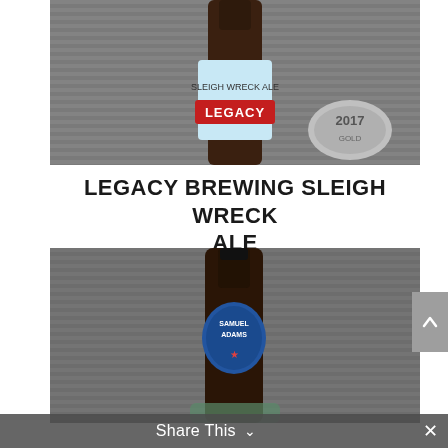[Figure (photo): A dark beer bottle with a blue and white label reading 'Legacy Brewing Sleigh Wreck Ale', placed against a grey corrugated metal background, with a silver 2017 medal/coin visible to the right.]
LEGACY BREWING SLEIGH WRECK ALE
[Figure (photo): A dark beer bottle with a blue Samuel Adams label, photographed against a grey corrugated metal background, with a hand partially visible at the bottom.]